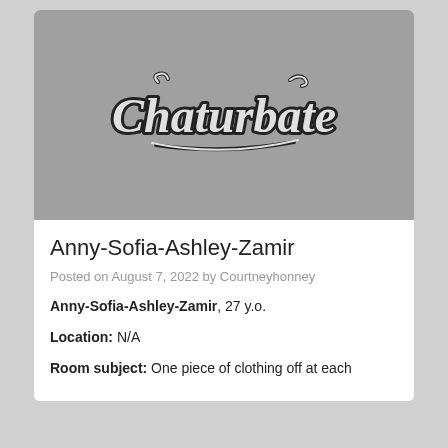[Figure (screenshot): Chaturbate logo on grey background]
Anny-Sofia-Ashley-Zamir
Posted on August 7, 2022 by Courtneyhonney
Anny-Sofia-Ashley-Zamir, 27 y.o.
Location: N/A
Room subject: One piece of clothing off at each